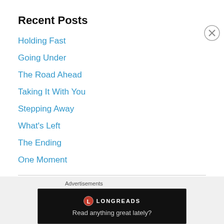Recent Posts
Holding Fast
Going Under
The Road Ahead
Taking It With You
Stepping Away
What's Left
The Ending
One Moment
Archives
Select Month
Advertisements
[Figure (screenshot): Longreads advertisement banner with logo and tagline 'Read anything great lately?']